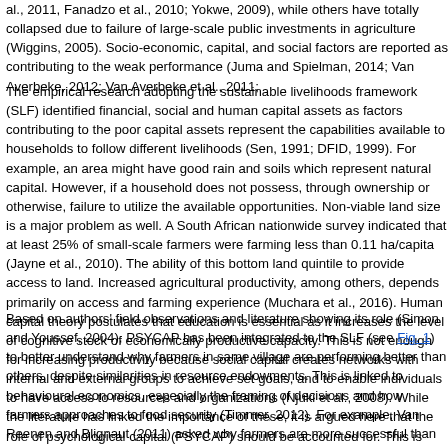al., 2011, Fanadzo et al., 2010; Yokwe, 2009), while others have totally collapsed due to the failure of large-scale public investments in agriculture (Wiggins, 2005). Socio-economic, capital, and social factors are reported as contributing to the weak performance of schemes (Juma and Spielman, 2014; Van Averbeke, 2012; Van Averbeke et al., 2011;
The empirical research adopting the sustainable livelihoods framework (SLF) identified financial, social and human capital assets as factors contributing to the poor performance. The capital assets represent the capabilities available to households to follow different livelihoods (Sen, 1991; DFID, 1999). For example, an area might have good rain and soils which represent natural capital. However, if a household does not possess, through ownership or otherwise, there would be a failure to utilize the available opportunities. Non-viable land size is a major problem as well. A South African nationwide survey indicated that at least 25% of small-scale farmers were farming less than 0.11 ha/capita (Jayne et al., 2010). The ability of this bottom land quintile to provide access to land. Increased agricultural productivity, among others, depends primarily on access and farming experience (Muchara et al., 2016). Human capital theory postulates that education is essential as it increases the level of cognitive stock of economically productive capacity. This is not enough for increasing productivity because social capital creates networks with internal and external groups to achieve set goals, and to enable individuals to have access to resources and organizations (Njuki et al., 2008). While the literature has linked the importance of these, it is argued here that the role of psychological capital (PSYCAP) should be accounted for. This is because PSYCAP is an important component of farm management (Makinen, 2013; N
Based on authors' field observations and literature showing its role (Simon and Youssef, 2004), PSYCAP has been integrated to the SLF (see Fig. 1) to better understand why farmers in same village are performing better than others, despite similarities in resource endowments. This is linked to behavioural economics, especially the framing of decisions and how farmers engage in various approaches to food security (Timmer, 2012). For example, Van Reenen and Blignaut (2011) asked why farmers are more successful than others'. 'Why do some farmers become affluent and others poor?' These observations entail similar questions this study is trying to answer in this paper. For example, Davel (1986 p.1) argued that farmers' success (or otherwise) cannot be solely